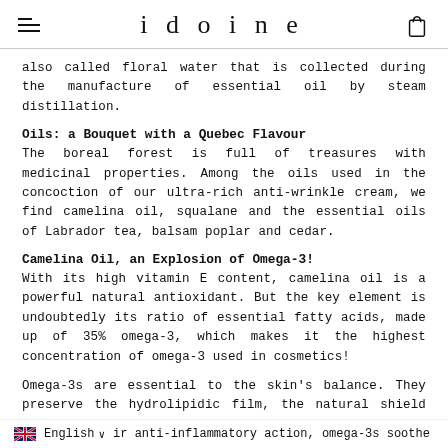idoine
also called floral water that is collected during the manufacture of essential oil by steam distillation.
Oils: a Bouquet with a Quebec Flavour
The boreal forest is full of treasures with medicinal properties. Among the oils used in the concoction of our ultra-rich anti-wrinkle cream, we find camelina oil, squalane and the essential oils of Labrador tea, balsam poplar and cedar.
Camelina Oil, an Explosion of Omega-3!
With its high vitamin E content, camelina oil is a powerful natural antioxidant. But the key element is undoubtedly its ratio of essential fatty acids, made up of 35% omega-3, which makes it the highest concentration of omega-3 used in cosmetics!
Omega-3s are essential to the skin's balance. They preserve the hydrolipidic film, the natural shield of the epidermis.
English   ir anti-inflammatory action, omega-3s soothe